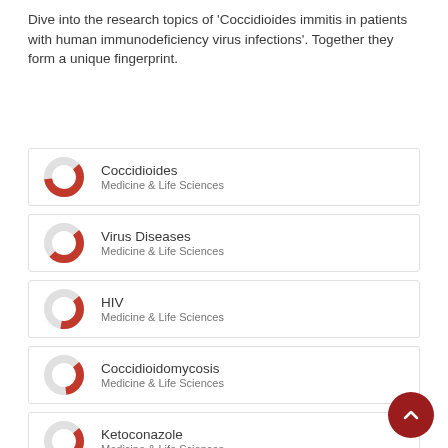Dive into the research topics of 'Coccidioides immitis in patients with human immunodeficiency virus infections'. Together they form a unique fingerprint.
Coccidioides — Medicine & Life Sciences
Virus Diseases — Medicine & Life Sciences
HIV — Medicine & Life Sciences
Coccidioidomycosis — Medicine & Life Sciences
Ketoconazole — Medicine & Life Sciences